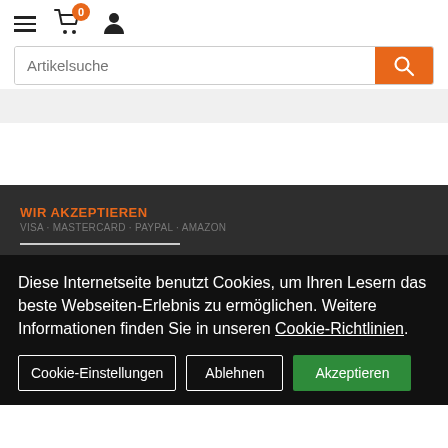Navigation header with hamburger menu, cart (0), user icon
Artikelsuche
[Figure (screenshot): Grey navigation bar below search]
WIR AKZEPTIEREN
Diese Internetseite benutzt Cookies, um Ihren Lesern das beste Webseiten-Erlebnis zu ermöglichen. Weitere Informationen finden Sie in unseren Cookie-Richtlinien.
Cookie-Einstellungen | Ablehnen | Akzeptieren